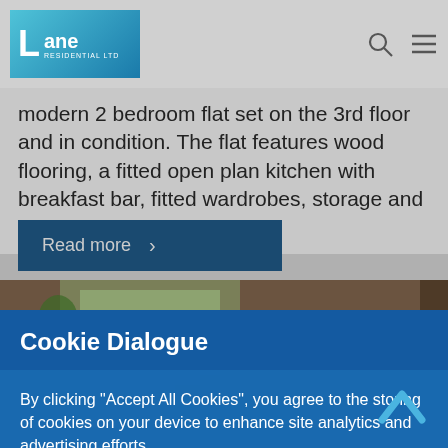[Figure (logo): Lane Residential Ltd logo - blue gradient square with L letter and text]
modern 2 bedroom flat set on the 3rd floor and in condition. The flat features wood flooring, a fitted open plan kitchen with breakfast bar, fitted wardrobes, storage and a ...
Read more ›
Cookie Dialogue
By clicking “Accept All Cookies”, you agree to the storing of cookies on your device to enhance site analytics and advertising efforts.
Cookie Settings
Accept All Cookies
[Figure (photo): Interior room photo showing living room with chairs, coffee table, and window with garden view]